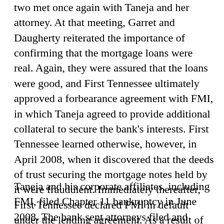two met once again with Taneja and her attorney. At that meeting, Garret and Daugherty reiterated the importance of confirming that the mortgage loans were real. Again, they were assured that the loans were good, and First Tennessee ultimately approved a forbearance agreement with FMI, in which Taneja agreed to provide additional collateral to secure the bank's interests. First Tennessee learned otherwise, however, in April 2008, when it discovered that the deeds of trust securing the mortgage notes held by it were fraudulent. Immediately thereafter, First Tennessee declared FMI in default under the lending agreement. As a result of First Tennessee's relationship with FMI and Taneja, it lost more than $5.6 million.
Taneja and his corporate affiliates, including FMI, filed Chapter 11 bankruptcy in June 2008. The bank sent attorneys filed and commenced a claim in the